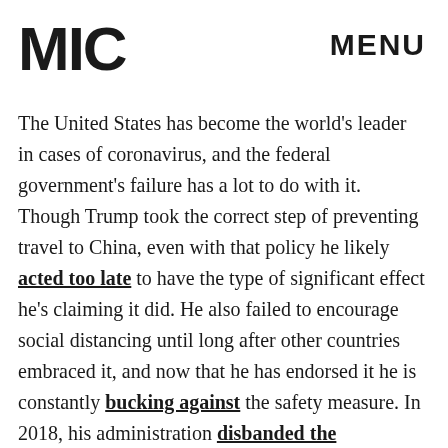MIC   MENU
The United States has become the world's leader in cases of coronavirus, and the federal government's failure has a lot to do with it. Though Trump took the correct step of preventing travel to China, even with that policy he likely acted too late to have the type of significant effect he's claiming it did. He also failed to encourage social distancing until long after other countries embraced it, and now that he has endorsed it he is constantly bucking against the safety measure. In 2018, his administration disbanded the